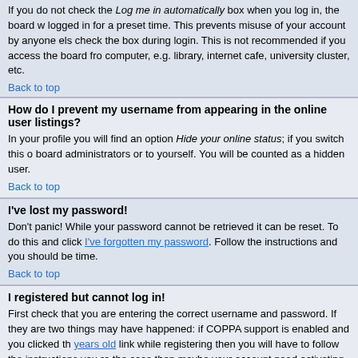If you do not check the Log me in automatically box when you log in, the board will only keep you logged in for a preset time. This prevents misuse of your account by anyone else. To stay logged in, check the box during login. This is not recommended if you access the board from a shared computer, e.g. library, internet cafe, university cluster, etc.
Back to top
How do I prevent my username from appearing in the online user listings?
In your profile you will find an option Hide your online status; if you switch this on you will only appear to board administrators or to yourself. You will be counted as a hidden user.
Back to top
I've lost my password!
Don't panic! While your password cannot be retrieved it can be reset. To do this go to the login page and click I've forgotten my password. Follow the instructions and you should be logged in again shortly time.
Back to top
I registered but cannot log in!
First check that you are entering the correct username and password. If they are correct then two things may have happened: if COPPA support is enabled and you clicked the I am under 13 years old link while registering then you will have to follow the instructions you received. If this is not the case then maybe your account need activating. Some boards will require all new registrations be activated, either by yourself or by the administrator before you can log on. When you registered it would have told you whether activation was required. If you were sent an email then follow the instructions; if you did not receive the email then check that your email address